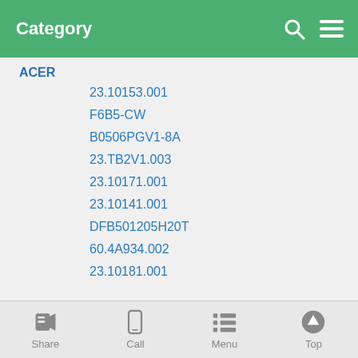Category
ACER
23.10153.001
F6B5-CW
B0506PGV1-8A
23.TB2V1.003
23.10171.001
23.10141.001
DFB501205H20T
60.4A934.002
23.10181.001
Share | Call | Menu | Top